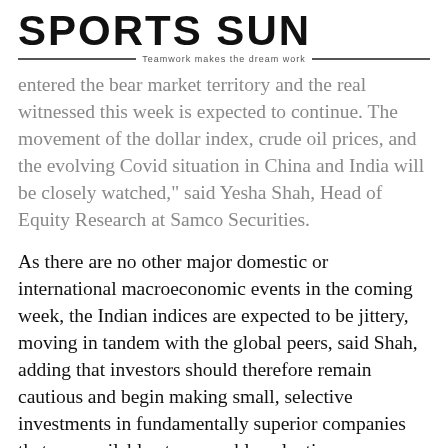SPORTS SUN — Teamwork makes the dream work
entered the bear market territory and the real witnessed this week is expected to continue. The movement of the dollar index, crude oil prices, and the evolving Covid situation in China and India will be closely watched," said Yesha Shah, Head of Equity Research at Samco Securities.
As there are no other major domestic or international macroeconomic events in the coming week, the Indian indices are expected to be jittery, moving in tandem with the global peers, said Shah, adding that investors should therefore remain cautious and begin making small, selective investments in fundamentally superior companies that are available at reasonable valuations.
"We recommend that traders maintain a negative to